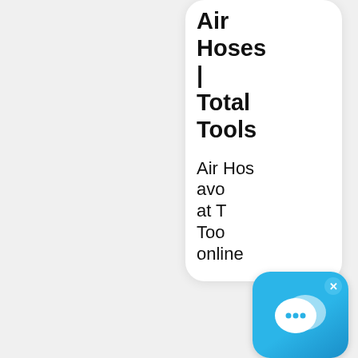Air Hoses | Total Tools
Air Hos avo at T Too online
[Figure (screenshot): Chat widget overlay with speech bubble icon and close button (x) on a blue gradient rounded rectangle background]
[Figure (photo): A black cylindrical hose or tube segment shown at an angle]
Flexibl Stainle Steel Doubl
[Figure (infographic): Red circle back-to-top scroll button with double chevron up arrow icon]